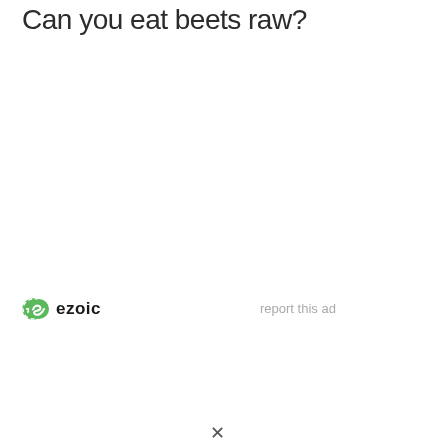Can you eat beets raw?
[Figure (logo): Ezoic logo with green circle icon and bold text 'ezoic']
report this ad